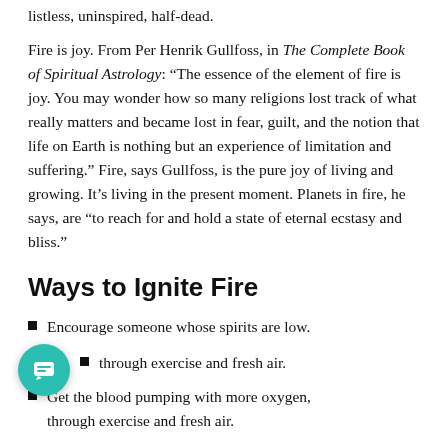listless, uninspired, half-dead.
Fire is joy. From Per Henrik Gullfoss, in The Complete Book of Spiritual Astrology: “The essence of the element of fire is joy. You may wonder how so many religions lost track of what really matters and became lost in fear, guilt, and the notion that life on Earth is nothing but an experience of limitation and suffering.” Fire, says Gullfoss, is the pure joy of living and growing. It’s living in the present moment. Planets in fire, he says, are “to reach for and hold a state of eternal ecstasy and bliss.”
Ways to Ignite Fire
Encourage someone whose spirits are low.
Get the blood pumping with more oxygen, through exercise and fresh air.
Stop talking about your dreams and take one